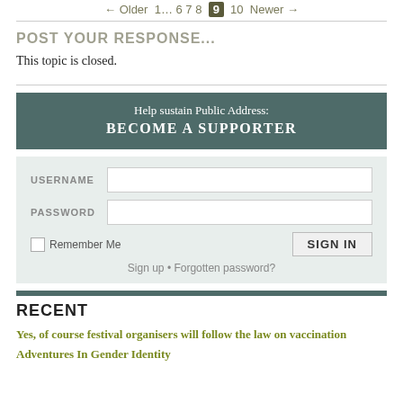← Older  1… 6 7 8  9  10  Newer →
POST YOUR RESPONSE...
This topic is closed.
Help sustain Public Address: BECOME A SUPPORTER
USERNAME  PASSWORD  Remember Me  SIGN IN  Sign up • Forgotten password?
RECENT
Yes, of course festival organisers will follow the law on vaccination
Adventures In Gender Identity